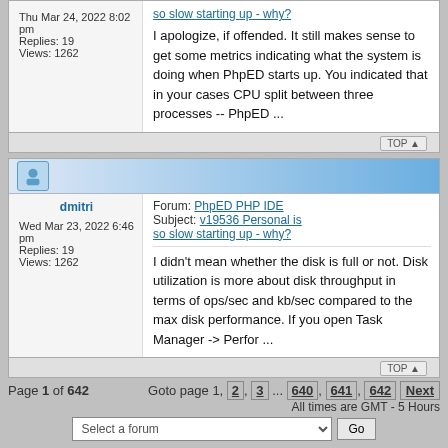so slow starting up - why?
Thu Mar 24, 2022 8:02 pm
Replies: 19
Views: 1262
I apologize, if offended. It still makes sense to get some metrics indicating what the system is doing when PhpED starts up. You indicated that in your cases CPU split between three processes -- PhpED ...
TOP
dmitri
Forum: PhpED PHP IDE
Subject: v19536 Personal is so slow starting up - why?
Wed Mar 23, 2022 6:46 pm
Replies: 19
Views: 1262
I didn't mean whether the disk is full or not. Disk utilization is more about disk throughput in terms of ops/sec and kb/sec compared to the max disk performance. If you open Task Manager -> Perfor ...
TOP
Page 1 of 642
Goto page 1, 2, 3 ... 640, 641, 642 Next
All times are GMT - 5 Hours
Select a forum   Go
Content © NuSphere Corp., PHP IDE team
Powered by phpBB © phpBB Group, Design by phpBBStyles.com | Styles Database.
Powered by PHP EXPRESS 3.0